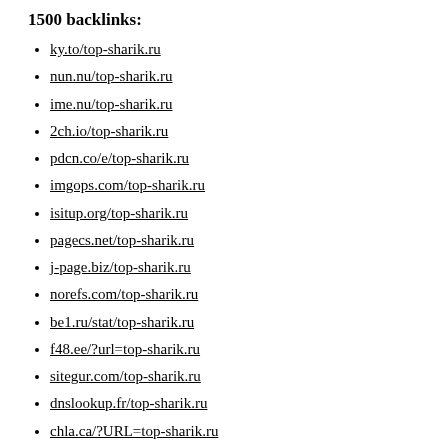1500 backlinks:
ky.to/top-sharik.ru
nun.nu/top-sharik.ru
ime.nu/top-sharik.ru
2ch.io/top-sharik.ru
pdcn.co/e/top-sharik.ru
imgops.com/top-sharik.ru
isitup.org/top-sharik.ru
pagecs.net/top-sharik.ru
j-page.biz/top-sharik.ru
norefs.com/top-sharik.ru
be1.ru/stat/top-sharik.ru
f48.ee/?url=top-sharik.ru
sitegur.com/top-sharik.ru
dnslookup.fr/top-sharik.ru
chla.ca/?URL=top-sharik.ru
mixwebup.com/top-sharik.ru
jump.5ch.net/?top-sharik.ru
jump.2ch.net/?top-sharik.ru